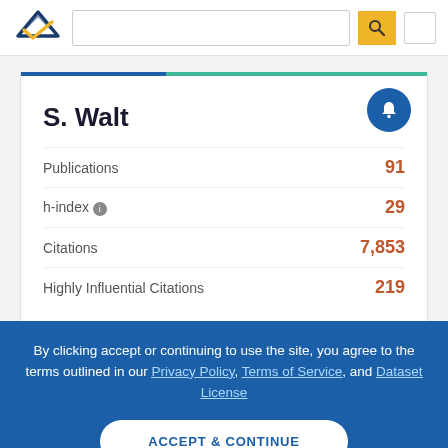Semantic Scholar – S. Walt profile page header with search bar
S. Walt
Publications 91
h-index 29
Citations 7,853
Highly Influential Citations 219
By clicking accept or continuing to use the site, you agree to the terms outlined in our Privacy Policy, Terms of Service, and Dataset License
ACCEPT & CONTINUE